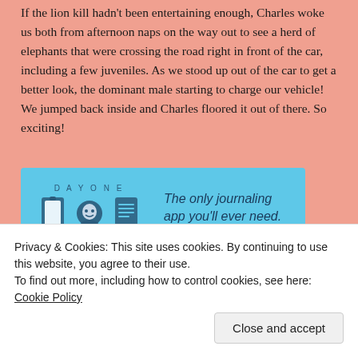If the lion kill hadn't been entertaining enough, Charles woke us both from afternoon naps on the way out to see a herd of elephants that were crossing the road right in front of the car, including a few juveniles.  As we stood up out of the car to get a better look, the dominant male starting to charge our vehicle!  We jumped back inside and Charles floored it out of there.  So exciting!
[Figure (illustration): Day One journaling app advertisement banner on blue background with logo icons and tagline 'The only journaling app you'll ever need.']
By the time we reached the waterfall it was after 4 in
Privacy & Cookies: This site uses cookies. By continuing to use this website, you agree to their use.
To find out more, including how to control cookies, see here: Cookie Policy
Close and accept